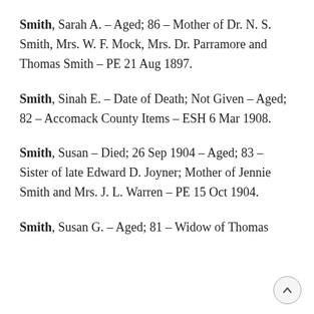Smith, Sarah A. – Aged; 86 – Mother of Dr. N. S. Smith, Mrs. W. F. Mock, Mrs. Dr. Parramore and Thomas Smith – PE 21 Aug 1897.
Smith, Sinah E. – Date of Death; Not Given – Aged; 82 – Accomack County Items – ESH 6 Mar 1908.
Smith, Susan – Died; 26 Sep 1904 – Aged; 83 – Sister of late Edward D. Joyner; Mother of Jennie Smith and Mrs. J. L. Warren – PE 15 Oct 1904.
Smith, Susan G. – Aged; 81 – Widow of Thomas